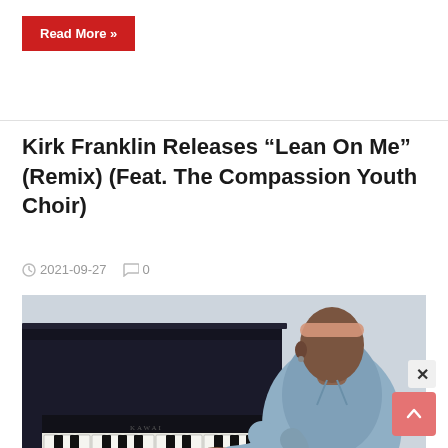Read More »
Kirk Franklin Releases “Lean On Me” (Remix) (Feat. The Compassion Youth Choir)
2021-09-27   0
[Figure (photo): A man wearing a light pink headband and blue denim shirt playing an upright black piano, viewed from the side against a light grey background.]